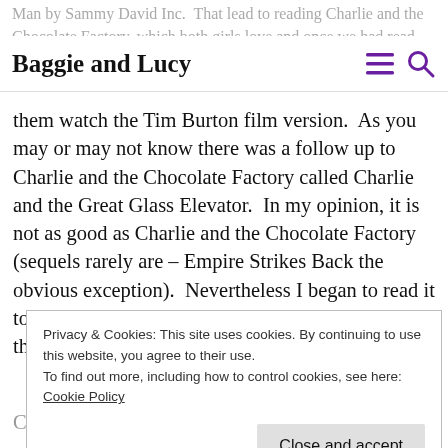Man by Sammy David Inc. That lead to reading Charlie and the Chocolate Factory, which both girls love and once we had read the book I let
Baggie and Lucy
them watch the Tim Burton film version.  As you may or may not know there was a follow up to Charlie and the Chocolate Factory called Charlie and the Great Glass Elevator.  In my opinion, it is not as good as Charlie and the Chocolate Factory (sequels rarely are – Empire Strikes Back the obvious exception).  Nevertheless I began to read it to them (we have since given up and begun to read the BFG!).
Privacy & Cookies: This site uses cookies. By continuing to use this website, you agree to their use.
To find out more, including how to control cookies, see here:
Cookie Policy
Chocolate Factory. Now, the method of entry